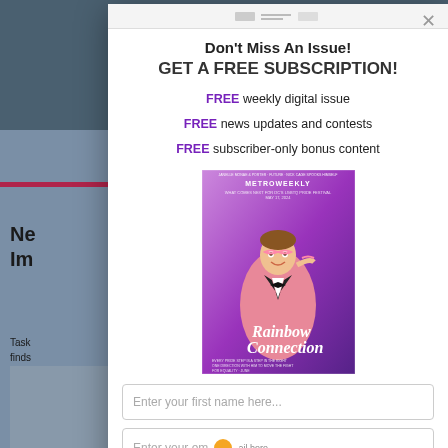[Figure (screenshot): Background webpage showing article about immigration, partially obscured by modal popup]
Don't Miss An Issue!
GET A FREE SUBSCRIPTION!
FREE weekly digital issue
FREE news updates and contests
FREE subscriber-only bonus content
[Figure (photo): Metro Weekly magazine cover showing man in pink sparkly tuxedo jacket holding glasses, with text 'Rainbow Connection']
Enter your first name here...
Enter your email here...